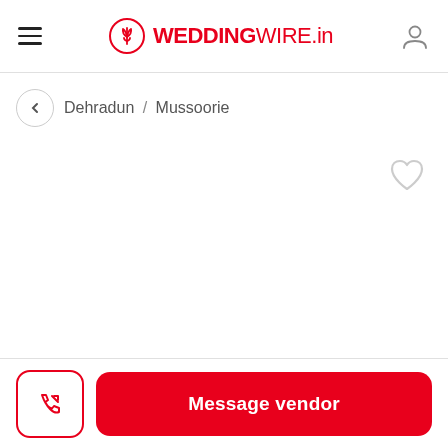WEDDINGWIRE.in
Dehradun / Mussoorie
[Figure (screenshot): Blank white content area with a heart/favorite icon in the top-right corner]
Message vendor